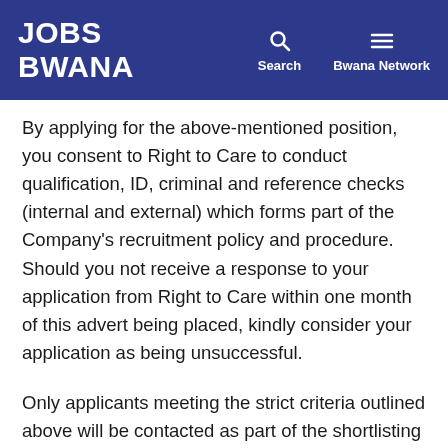JOBS BWANA | Search | Bwana Network
By applying for the above-mentioned position, you consent to Right to Care to conduct qualification, ID, criminal and reference checks (internal and external) which forms part of the Company’s recruitment policy and procedure. Should you not receive a response to your application from Right to Care within one month of this advert being placed, kindly consider your application as being unsuccessful.
Only applicants meeting the strict criteria outlined above will be contacted as part of the shortlisting process. Right to Care reserves the right to withdraw the vacancy at any time for whatever